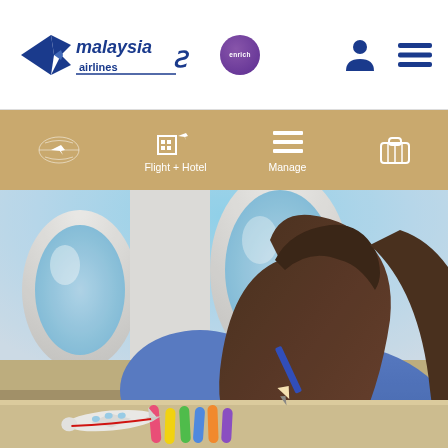[Figure (logo): Malaysia Airlines logo with blue stylized text and wing icon, and Enrich purple circle logo]
[Figure (infographic): Navigation tab bar with tan/gold background showing: Flight icon (plane), Flight + Hotel icon (building+plane), Manage icon (list), and Baggage icon. White icons and text on tan background.]
[Figure (photo): Hero image of a young girl with long dark hair wearing a blue hoodie, sitting by airplane oval windows drawing/coloring with markers and a small airplane toy model on the table. Blue sky visible through windows.]